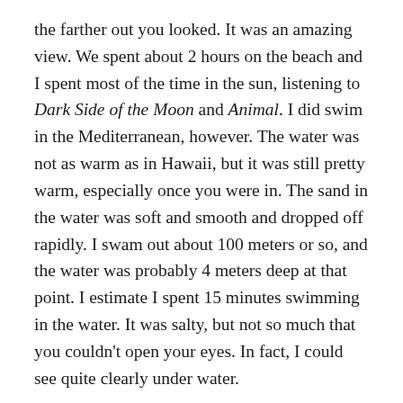the farther out you looked. It was an amazing view. We spent about 2 hours on the beach and I spent most of the time in the sun, listening to Dark Side of the Moon and Animal. I did swim in the Mediterranean, however. The water was not as warm as in Hawaii, but it was still pretty warm, especially once you were in. The sand in the water was soft and smooth and dropped off rapidly. I swam out about 100 meters or so, and the water was probably 4 meters deep at that point. I estimate I spent 15 minutes swimming in the water. It was salty, but not so much that you couldn't open your eyes. In fact, I could see quite clearly under water.
I did notice three women sunbathing nude on the beach, even though it was a family beach. There